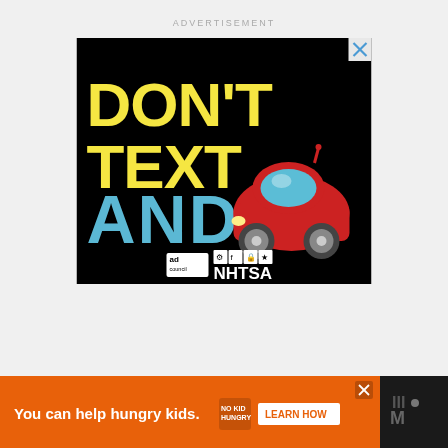ADVERTISEMENT
[Figure (illustration): Black background advertisement with text 'DON'T TEXT AND [car emoji]' in large yellow and cyan letters, with Ad Council and NHTSA logos at bottom. Close (X) button in top right corner.]
[Figure (illustration): Orange banner advertisement: 'You can help hungry kids.' with No Kid Hungry logo and 'LEARN HOW' button. Close (X) button visible. Motortrend logo on right.]